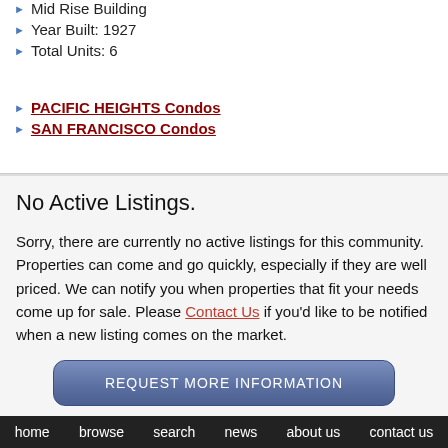Mid Rise Building
Year Built: 1927
Total Units: 6
PACIFIC HEIGHTS Condos
SAN FRANCISCO Condos
No Active Listings.
Sorry, there are currently no active listings for this community. Properties can come and go quickly, especially if they are well priced. We can notify you when properties that fit your needs come up for sale. Please Contact Us if you'd like to be notified when a new listing comes on the market.
REQUEST MORE INFORMATION
home   browse   search   news   about us   contact us